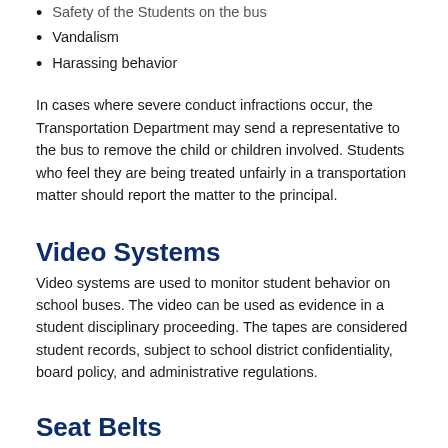Safety of the Students on the bus
Vandalism
Harassing behavior
In cases where severe conduct infractions occur, the Transportation Department may send a representative to the bus to remove the child or children involved. Students who feel they are being treated unfairly in a transportation matter should report the matter to the principal.
Video Systems
Video systems are used to monitor student behavior on school buses. The video can be used as evidence in a student disciplinary proceeding. The tapes are considered student records, subject to school district confidentiality, board policy, and administrative regulations.
Seat Belts
West Des Moines Community Schools has begun the process of